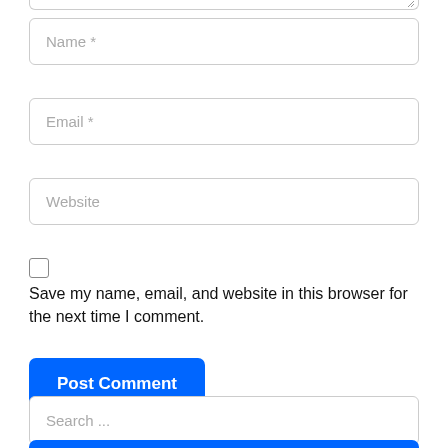[Figure (screenshot): Partial text input field at top of page (bottom edge visible with resize handle)]
Name *
Email *
Website
Save my name, email, and website in this browser for the next time I comment.
Post Comment
Search ...
Search